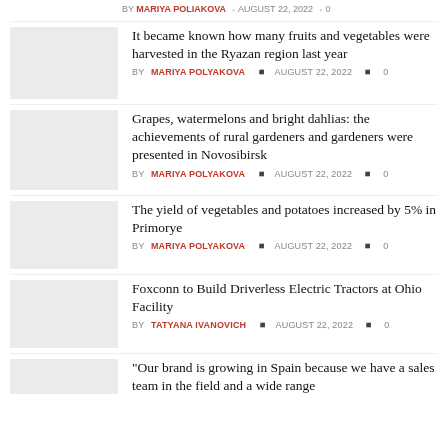BY MARIYA POLYAKOVA  AUGUST 22, 2022  0
It became known how many fruits and vegetables were harvested in the Ryazan region last year
BY MARIYA POLYAKOVA  AUGUST 22, 2022  0
Grapes, watermelons and bright dahlias: the achievements of rural gardeners and gardeners were presented in Novosibirsk
BY MARIYA POLYAKOVA  AUGUST 22, 2022  0
The yield of vegetables and potatoes increased by 5% in Primorye
BY MARIYA POLYAKOVA  AUGUST 22, 2022  0
Foxconn to Build Driverless Electric Tractors at Ohio Facility
BY TATYANA IVANOVICH  AUGUST 22, 2022  0
"Our brand is growing in Spain because we have a sales team in the field and a wide range